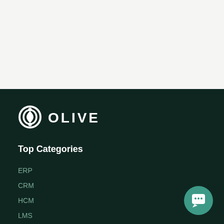[Figure (logo): Olive logo with icon and wordmark OLIVE on dark green background]
Top Categories
ERP
CRM
HCM
LMS
AI
BI